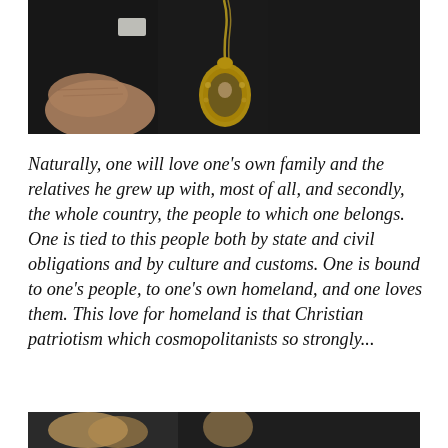[Figure (photo): Close-up photograph of an elderly person in dark robes wearing a large ornate gold pendant/medallion with a religious icon, hands visible in foreground]
Naturally, one will love one's own family and the relatives he grew up with, most of all, and secondly, the whole country, the people to which one belongs. One is tied to this people both by state and civil obligations and by culture and customs. One is bound to one's people, to one's own homeland, and one loves them. This love for homeland is that Christian patriotism which cosmopolitanists so strongly...
[Figure (photo): Partial view of another photograph at the bottom of the page, partially cut off]